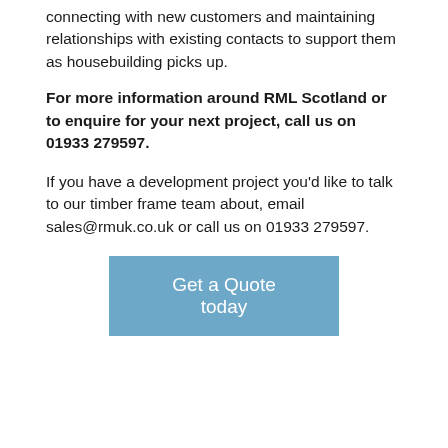connecting with new customers and maintaining relationships with existing contacts to support them as housebuilding picks up.
For more information around RML Scotland or to enquire for your next project, call us on 01933 279597.
If you have a development project you'd like to talk to our timber frame team about, email sales@rmuk.co.uk or call us on 01933 279597.
[Figure (other): A blue button/call-to-action with white text reading 'Get a Quote today']